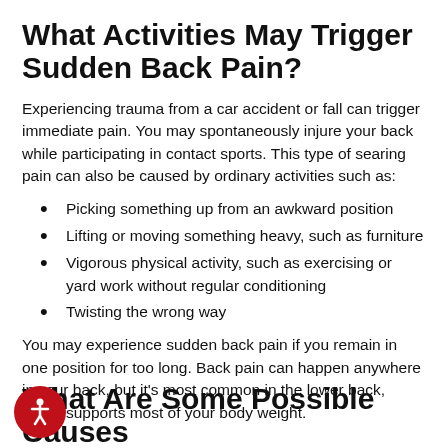What Activities May Trigger Sudden Back Pain?
Experiencing trauma from a car accident or fall can trigger immediate pain. You may spontaneously injure your back while participating in contact sports. This type of searing pain can also be caused by ordinary activities such as:
Picking something up from an awkward position
Lifting or moving something heavy, such as furniture
Vigorous physical activity, such as exercising or yard work without regular conditioning
Twisting the wrong way
You may experience sudden back pain if you remain in one position for too long. Back pain can happen anywhere in your back, but it's most common in the lower back, which supports most of your body weight.
What Are Some Possible Causes